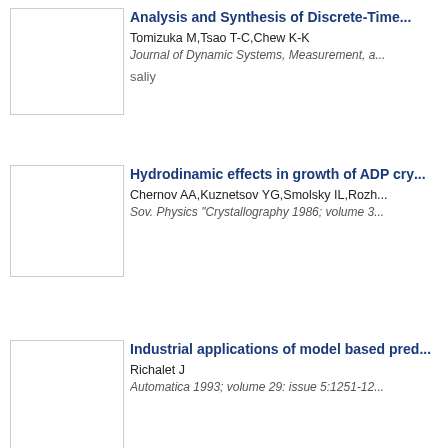Analysis and Synthesis of Discrete-Time... | Tomizuka M,Tsao T-C,Chew K-K | Journal of Dynamic Systems, Measurement, a... | saliy
Hydrodinamic effects in growth of ADP cry... | Chernov AA,Kuznetsov YG,Smolsky IL,Rozh... | Sov. Physics "Crystallography 1986; volume 3... | whyshun1988
Industrial applications of model based pred... | Richalet J | Automatica 1993; volume 29: issue 5:1251-12... | sunhaijuan
[Figure (illustration): Chinese calligraphic text reading 连接·科学·人 (Connecting · Science · People)]
Copyright: © 科学网 2016-2017  警徽图标  公安备 33010202000686号  (浙ICP备090352300号-1)